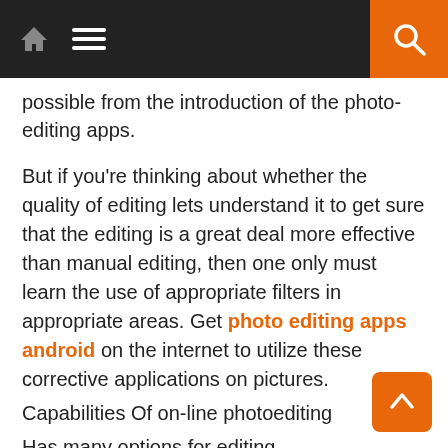[Navigation bar with home, menu, and search icons]
possible from the introduction of the photo-editing apps.
But if you're thinking about whether the quality of editing lets understand it to get sure that the editing is a great deal more effective than manual editing, then one only must learn the use of appropriate filters in appropriate areas. Get photo editing apps android on the internet to utilize these corrective applications on pictures.
Capabilities Of on-line photoediting
Has many options for editing
The filters
The comparison modification
The color adjustment
Sharpness
Saturation modification
Border specs
Particular outcomes